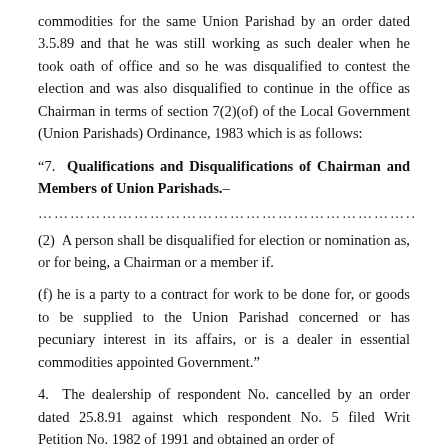commodities for the same Union Parishad by an order dated 3.5.89 and that he was still working as such dealer when he took oath of office and so he was disqualified to contest the election and was also disqualified to continue in the office as Chairman in terms of section 7(2)(of) of the Local Government (Union Parishads) Ordinance, 1983 which is as follows:
“7. Qualifications and Disqualifications of Chairman and Members of Union Parishads.–
……………………………………………………………..
(2) A person shall be disqualified for election or nomination as, or for being, a Chairman or a member if.
(f) he is a party to a contract for work to be done for, or goods to be supplied to the Union Parishad concerned or has pecuniary interest in its affairs, or is a dealer in essential commodities appointed Government.”
4. The dealership of respondent No. cancelled by an order dated 25.8.91 against which respondent No. 5 filed Writ Petition No. 1982 of 1991 and obtained an order of